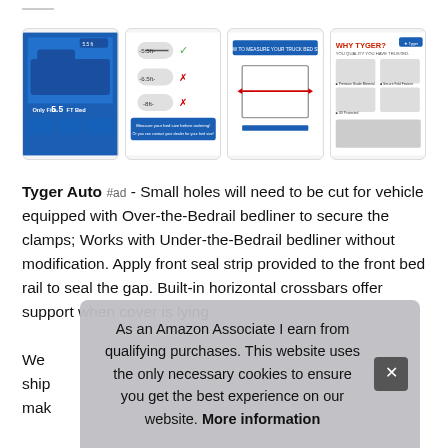[Figure (photo): Four product thumbnail images in a row showing a truck bed cover (tonneau cover): image 1 shows blue truck with '5.5 FT Bed' label, image 2 shows bed size compatibility chart with checkmarks, image 3 shows measurement diagram, image 4 shows 'WHY TYGER?' feature grid]
Tyger Auto #ad - Small holes will need to be cut for vehicle equipped with Over-the-Bedrail bedliner to secure the clamps; Works with Under-the-Bedrail bedliner without modification. Apply front seal strip provided to the front bed rail to seal the gap. Built-in horizontal crossbars offer support when cover is lying [partially obscured] We [partially obscured] ship [partially obscured] mak [partially obscured]
As an Amazon Associate I earn from qualifying purchases. This website uses the only necessary cookies to ensure you get the best experience on our website. More information